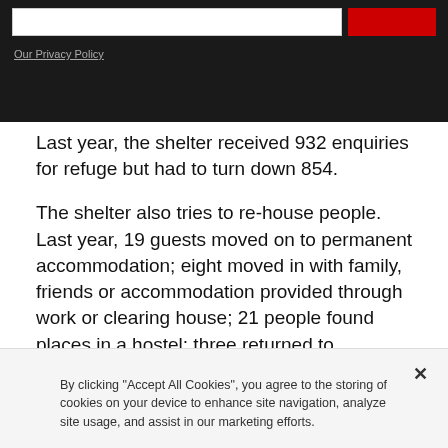[Dark banner with input box, red button, and Our Privacy Policy link]
Our Privacy Policy
Last year, the shelter received 932 enquiries for refuge but had to turn down 854.
The shelter also tries to re-house people. Last year, 19 guests moved on to permanent accommodation; eight moved in with family, friends or accommodation provided through work or clearing house; 21 people found places in a hostel; three returned to accommodation in their home area; nine found private
By clicking "Accept All Cookies", you agree to the storing of cookies on your device to enhance site navigation, analyze site usage, and assist in our marketing efforts.